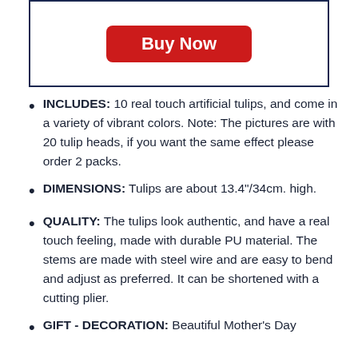[Figure (other): Buy Now button inside a dark navy bordered box]
INCLUDES: 10 real touch artificial tulips, and come in a variety of vibrant colors. Note: The pictures are with 20 tulip heads, if you want the same effect please order 2 packs.
DIMENSIONS: Tulips are about 13.4"/34cm. high.
QUALITY: The tulips look authentic, and have a real touch feeling, made with durable PU material. The stems are made with steel wire and are easy to bend and adjust as preferred. It can be shortened with a cutting plier.
GIFT - DECORATION: Beautiful Mother's Day